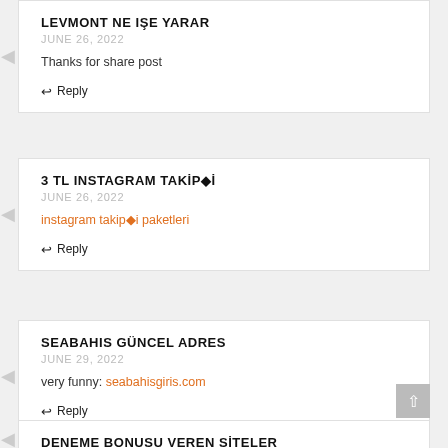LEVMONT NE IŞE YARAR
JUNE 26, 2022
Thanks for share post
Reply
3 TL INSTAGRAM TAKİPÇİ
JUNE 26, 2022
instagram takipçi paketleri
Reply
SEABAHIS GÜNCEL ADRES
JUNE 29, 2022
very funny: seabahisgiris.com
Reply
DENEME BONUSU VEREN SİTELER